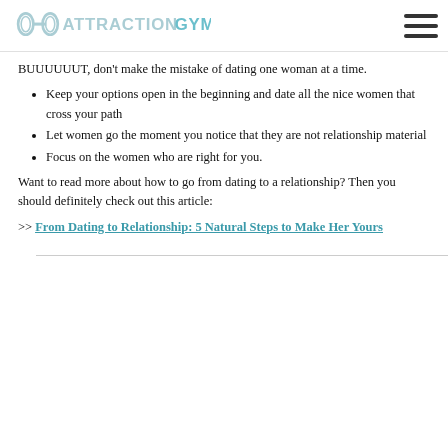ATTRACTIONGYM
BUUUUUUT, don’t make the mistake of dating one woman at a time.
Keep your options open in the beginning and date all the nice women that cross your path
Let women go the moment you notice that they are not relationship material
Focus on the women who are right for you.
Want to read more about how to go from dating to a relationship? Then you should definitely check out this article:
>> From Dating to Relationship: 5 Natural Steps to Make Her Yours